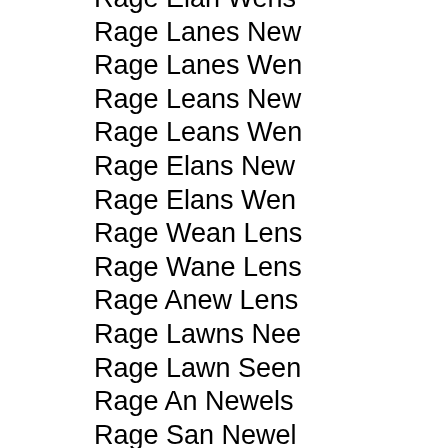Rage Elan Wens
Rage Lanes New
Rage Lanes Wen
Rage Leans New
Rage Leans Wen
Rage Elans New
Rage Elans Wen
Rage Wean Lens
Rage Wane Lens
Rage Anew Lens
Rage Lawns Nee
Rage Lawn Seen
Rage An Newels
Rage San Newel
Gear Lane Sewn
Gear Lane News
Gear Lane Wens
Gear Lean Sewn
Gear Lean News
Gear Lean Wens
Gear Elan Sewn
Gear Elan News
Gear Elan Wens
Gear Lanes New
Gear Lanes Wen
Gear Leans New
Gear Leans Wen
Gear Elans New